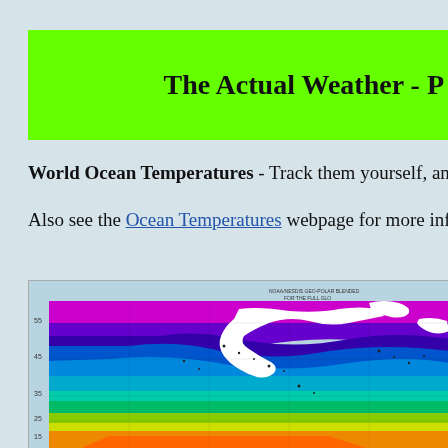The Actual Weather - P
World Ocean Temperatures - Track them yourself, and learn the
Also see the Ocean Temperatures webpage for more information.
[Figure (map): NOAA/NESDIS Geo-Polar blended SST map for the full global ocean showing world ocean temperatures with color-coded temperature ranges from cold (purple/blue in polar regions) to warm (orange/yellow/green in tropical regions). Landmasses shown in white.]